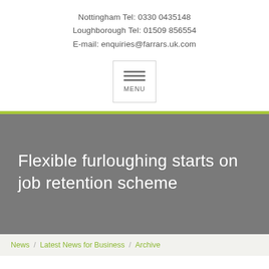Nottingham Tel: 0330 0435148
Loughborough Tel: 01509 856554
E-mail: enquiries@farrars.uk.com
[Figure (other): Navigation menu button — a bordered box containing three horizontal lines icon above the word MENU]
Flexible furloughing starts on job retention scheme
News / Latest News for Business / Archive